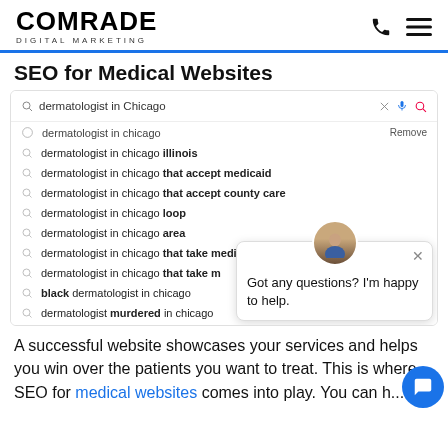COMRADE DIGITAL MARKETING
SEO for Medical Websites
[Figure (screenshot): Google search autocomplete suggestions for 'dermatologist in Chicago' showing various related searches including illinois, that accept medicaid, that accept county care, loop, area, that take medicaid, that take m, black dermatologist in chicago, murdered in chicago. A chat popup is overlaid in the bottom-right showing an avatar and message 'Got any questions? I'm happy to help.']
A successful website showcases your services and helps you win over the patients you want to treat. This is where SEO for medical websites comes into play. You can h...